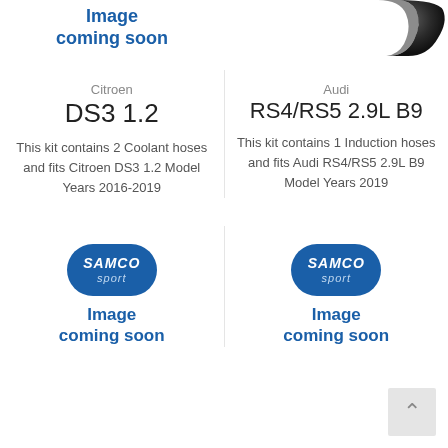[Figure (illustration): Image coming soon banner with blue bold text at top left]
[Figure (photo): Black rubber hose/elbow fitting, partially cropped at top right]
Citroen
DS3 1.2
This kit contains 2 Coolant hoses and fits Citroen DS3 1.2 Model Years 2016-2019
Audi
RS4/RS5 2.9L B9
This kit contains 1 Induction hoses and fits Audi RS4/RS5 2.9L B9 Model Years 2019
[Figure (logo): Samco Sport logo oval blue badge with Image coming soon text below]
[Figure (logo): Samco Sport logo oval blue badge with Image coming soon text below]